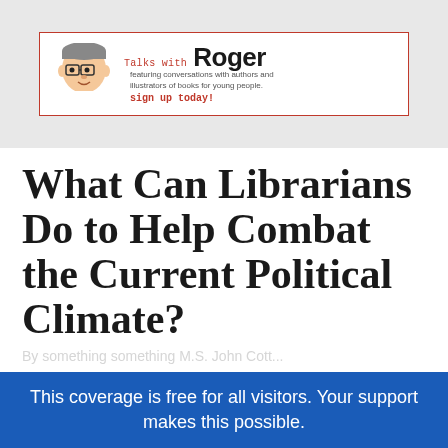[Figure (logo): Talks with Roger advertisement banner featuring a cartoon illustration of Roger (a man with glasses and bow tie) and text 'Talks with Roger - featuring conversations with authors and illustrators of books for young people. sign up today!']
What Can Librarians Do to Help Combat the Current Political Climate?
This coverage is free for all visitors. Your support makes this possible.
SUBSCRIBE